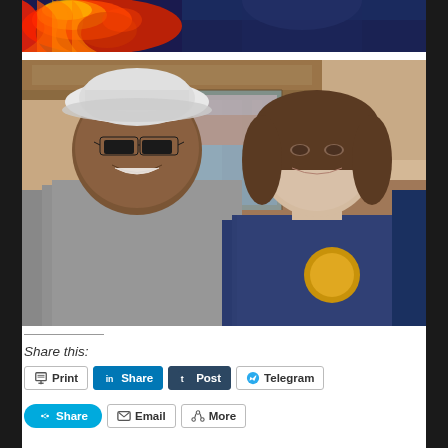[Figure (photo): Partial photo at top showing people in sports jerseys, one with flames/fire graphic design, dark navy blue background]
[Figure (photo): Selfie photo of two people: a Black man wearing a white bucket hat and black-framed glasses, smiling, wearing a gray hoodie; a white woman with short brown hair wearing a blue vest over a teal shirt with a yellow/gold logo, both appear to be indoors near a window with canyon rock formations visible in the background]
Share this:
Print
Share
Post
Telegram
Share
Email
More